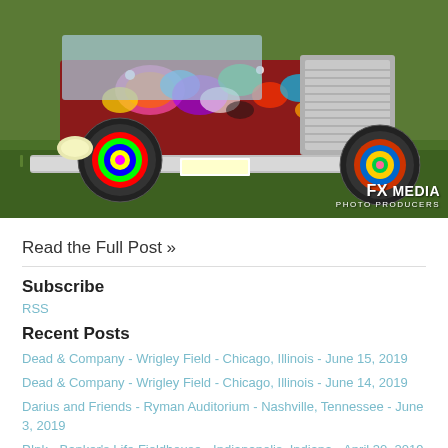[Figure (photo): Colorfully painted vintage truck/vehicle with psychedelic art on green grass. FX MEDIA watermark in bottom right corner.]
Read the Full Post »
Subscribe
RSS
Recent Posts
Dead & Company - Wrigley Field - Chicago, Illinois - June 15, 2019
Dead & Company - Wrigley Field - Chicago, Illinois - June 14, 2019
Darius and Friends - Ryman Auditorium - Nashville, Tennessee - June 3, 2019
P!nk - Banker's Life Fieldhouse - Indianapolis, Indiana - April 30, 2019
Metallica - Banker's Life Fieldhouse - Indianapolis, Indiana - March 11, 2019
Pigeons Playing Ping Pong - Paradise on the Point - Newport, Ky - June 30, 2018